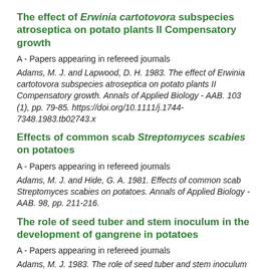The effect of Erwinia cartotovora subspecies atroseptica on potato plants II Compensatory growth
A - Papers appearing in refereed journals
Adams, M. J. and Lapwood, D. H. 1983. The effect of Erwinia cartotovora subspecies atroseptica on potato plants II Compensatory growth. Annals of Applied Biology - AAB. 103 (1), pp. 79-85. https://doi.org/10.1111/j.1744-7348.1983.tb02743.x
Effects of common scab Streptomyces scabies on potatoes
A - Papers appearing in refereed journals
Adams, M. J. and Hide, G. A. 1981. Effects of common scab Streptomyces scabies on potatoes. Annals of Applied Biology - AAB. 98, pp. 211-216.
The role of seed tuber and stem inoculum in the development of gangrene in potatoes
A - Papers appearing in refereed journals
Adams, M. J. 1983. The role of seed tuber and stem inoculum in the development of gangrene in potatoes